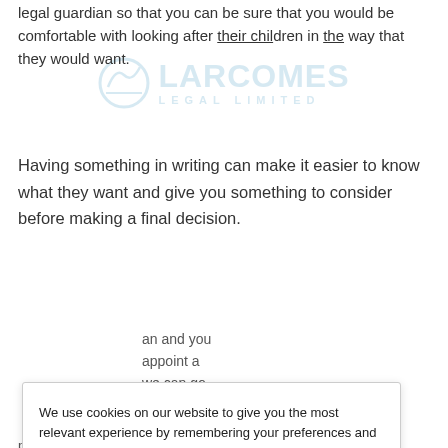legal guardian so that you can be sure that you would be comfortable with looking after their children in the way that they would want.
Having something in writing can make it easier to know what they want and give you something to consider before making a final decision.
We use cookies on our website to give you the most relevant experience by remembering your preferences and repeat visits. By clicking “Accept All”, you consent to the use of ALL the cookies. However, you may visit "Cookie Settings" to provide a controlled consent. You can view our Data Privacy Policy here.
an and you appoint a we can go rms of issues of
esentation he customer the legal
process. For more information or to discuss your legal